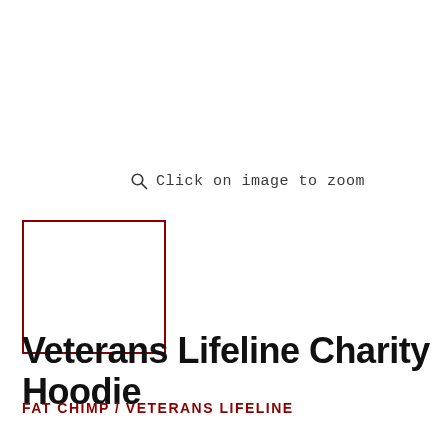Click on image to zoom
[Figure (other): Small white thumbnail box with dark red border, representing a product image thumbnail]
Veterans Lifeline Charity Hoodie
FAT CHIMP / VETERANS LIFELINE